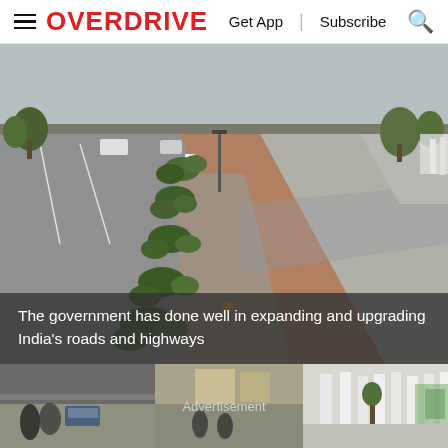OVERDRIVE | Get App | Subscribe
[Figure (photo): A wide Indian road highway with a raised central median/divider with white concrete bollards and green shrubs, shot from a low angle showing the road curving away into the distance. Cars visible on the far lane.]
The government has done well in expanding and upgrading India's roads and highways
[Figure (photo): Bottom strip showing a busy Indian street with motorcycles and cars, with an 'Advertisement' watermark overlay.]